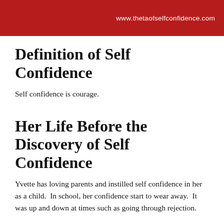www.thetaofselfconfidence.com
Definition of Self Confidence
Self confidence is courage.
Her Life Before the Discovery of Self Confidence
Yvette has loving parents and instilled self confidence in her as a child.  In school, her confidence start to wear away.  It was up and down at times such as going through rejection.
The “AHA” Moment